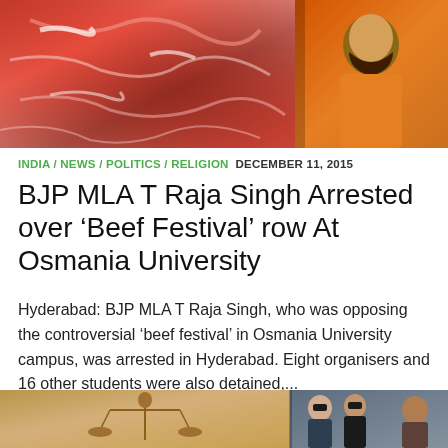[Figure (photo): Top image showing raw red meat on the left side and a man in an orange shirt on the right side]
INDIA / NEWS / POLITICS / RELIGION  DECEMBER 11, 2015
BJP MLA T Raja Singh Arrested over ‘Beef Festival’ row At Osmania University
Hyderabad: BJP MLA T Raja Singh, who was opposing the controversial ‘beef festival’ in Osmania University campus, was arrested in Hyderabad. Eight organisers and 16 other students were also detained,...
[Figure (photo): Bottom image showing a Lady Justice statue with scales on the left and men in sunglasses on the right]